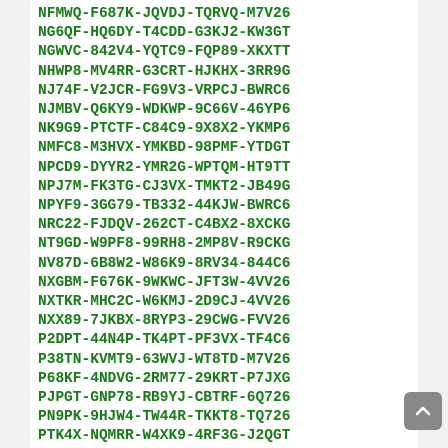NFMWQ-F687K-JQVDJ-TQRVQ-M7V26
NG6QF-HQ6DY-T4CDD-G3KJ2-KW3GT
NGWVC-842V4-YQTC9-FQP89-XKXTT
NHWP8-MV4RR-G3CRT-HJKHX-3RR9G
NJ74F-V2JCR-FG9V3-VRPCJ-BWRC6
NJMBV-Q6KY9-WDKWP-9C66V-46YP6
NK9G9-PTCTF-C84C9-9X8X2-YKMP6
NMFC8-M3HVX-YMKBD-98PMF-YTDGT
NPCD9-DYYR2-YMR2G-WPTQM-HT9TT
NPJ7M-FK3TG-CJ3VX-TMKT2-JB49G
NPYF9-3GG79-TB332-44KJW-BWRC6
NRC22-FJDQV-262CT-C4BX2-8XCKG
NT9GD-W9PF8-99RH8-2MP8V-R9CKG
NV87D-6B8W2-W86K9-8RV34-844C6
NXGBM-F676K-9WKWC-JFT3W-4VV26
NXTKR-MHC2C-W6KMJ-2D9CJ-4VV26
NXX89-7JKBX-8RYP3-29CWG-FVV26
P2DPT-44N4P-TK4PT-PF3VX-TF4C6
P38TN-KVMT9-63WVJ-WT8TD-M7V26
P68KF-4NDVG-2RM77-29KRT-P7JXG
PJPGT-GNP78-RB9YJ-CBTRF-6Q726
PN9PK-9HJW4-TW44R-TKKT8-TQ726
PTK4X-NQMRR-W4XK9-4RF3G-J2QGT